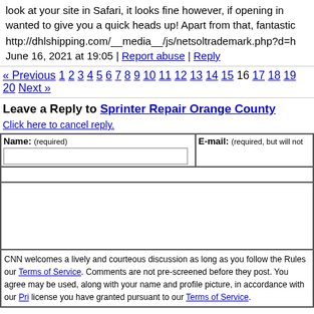look at your site in Safari, it looks fine however, if opening in wanted to give you a quick heads up! Apart from that, fantastic
http://dhlshipping.com/__media__/js/netsoltrademark.php?d=h
June 16, 2021 at 19:05 | Report abuse | Reply
« Previous 1 2 3 4 5 6 7 8 9 10 11 12 13 14 15 16 17 18 19 20 Next »
Leave a Reply to Sprinter Repair Orange County
Click here to cancel reply.
| Name: (required) | E-mail: (required, but will not |
| --- | --- |
|   |   |
CNN welcomes a lively and courteous discussion as long as you follow the Rules our Terms of Service. Comments are not pre-screened before they post. You agree may be used, along with your name and profile picture, in accordance with our Pri license you have granted pursuant to our Terms of Service.